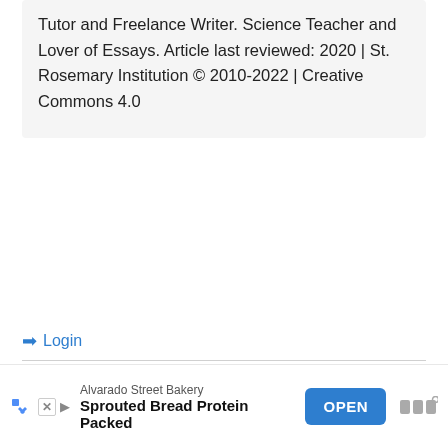Tutor and Freelance Writer. Science Teacher and Lover of Essays. Article last reviewed: 2020 | St. Rosemary Institution © 2010-2022 | Creative Commons 4.0
➡ Login
Be the First to Comment!
Alvarado Street Bakery
Sprouted Bread Protein Packed
OPEN